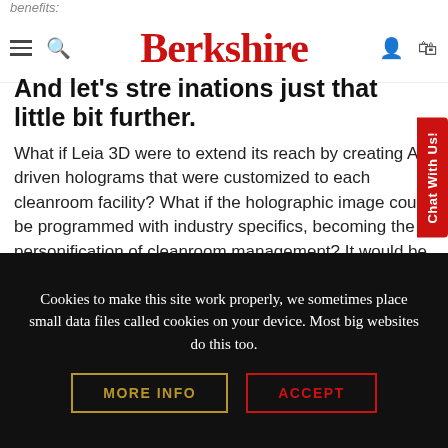Berkshire
benefits:
And let's stretch our imaginations just that little bit further.
What if Leia 3D were to extend its reach by creating AI-driven holograms that were customized to each cleanroom facility? What if the holographic image could be programmed with industry specifics, becoming the personification of cleanroom management? It would be simultaneously a repository of SOP information, data sheets, cGMPs, analysis, technical specifications, legal provisions,
Cookies to make this site work properly, we sometimes place small data files called cookies on your device. Most big websites do this too.
MORE INFO
ACCEPT
Chat With Us!